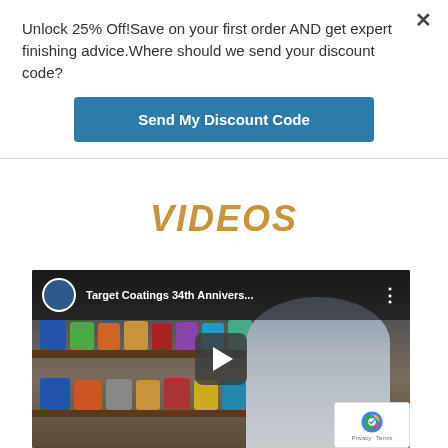Unlock 25% Off!Save on your first order AND get expert finishing advice.Where should we send your discount code?
Send My Discount Code
VIDEOS
[Figure (screenshot): YouTube video thumbnail showing 'Target Coatings 34th Annivers...' with channel icon, shelves of paint cans, a person speaking, and a play button overlay. A reCAPTCHA badge appears in bottom-right corner.]